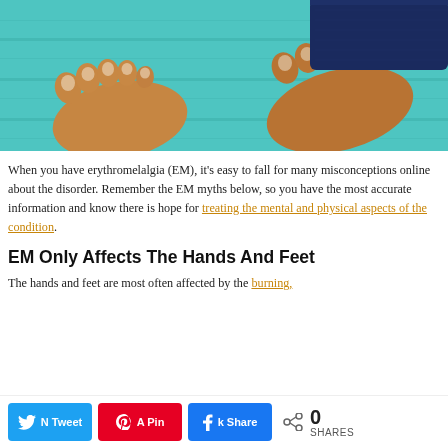[Figure (photo): Close-up photo of two bare feet on a teal/turquoise wooden surface, with jeans visible at the top right.]
When you have erythromelalgia (EM), it's easy to fall for many misconceptions online about the disorder. Remember the EM myths below, so you have the most accurate information and know there is hope for treating the mental and physical aspects of the condition.
EM Only Affects The Hands And Feet
The hands and feet are most often affected by the burning,